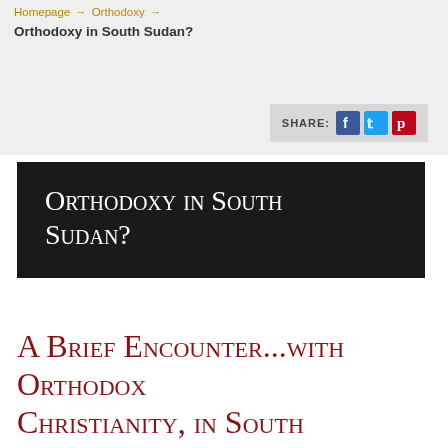Homepage → Orthodoxy → Orthodoxy in South Sudan?
[Figure (other): Share buttons bar with Facebook, Twitter, and Pinterest icons]
Orthodoxy in South Sudan?
A Brief Encounter...with Orthodox Christianity, in South